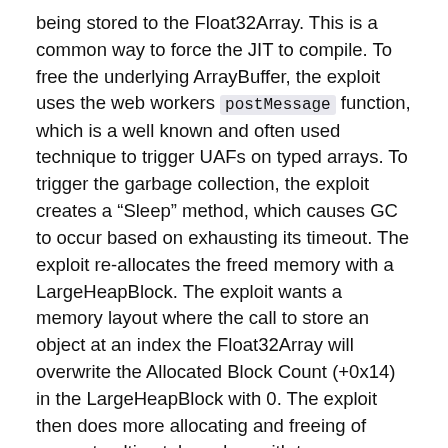being stored to the Float32Array. This is a common way to force the JIT to compile. To free the underlying ArrayBuffer, the exploit uses the web workers postMessage function, which is a well known and often used technique to trigger UAFs on typed arrays. To trigger the garbage collection, the exploit creates a “Sleep” method, which causes GC to occur based on exhausting its timeout. The exploit re-allocates the freed memory with a LargeHeapBlock. The exploit wants a memory layout where the call to store an object at an index the Float32Array will overwrite the Allocated Block Count (+0x14) in the LargeHeapBlock with 0. The exploit then does more allocating and freeing of arrays to ultimately end up with two JavascriptNativeIntArray objects whose ‘head’ members point to the same address. The OOB r/w afford by the JavascriptNativeIntArrays is then used to create new DataView objects to get arbitrary read/write primitives. These are commonly used techniques for getting the r/w primitives in Internet Explorer.